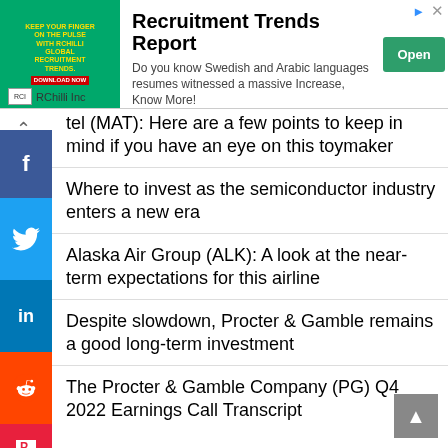[Figure (other): Advertisement banner for RChilli Inc Recruitment Trends Report. Green left panel with white text, center with ad copy, right with Open button.]
Mattel (MAT): Here are a few points to keep in mind if you have an eye on this toymaker
Where to invest as the semiconductor industry enters a new era
Alaska Air Group (ALK): A look at the near-term expectations for this airline
Despite slowdown, Procter & Gamble remains a good long-term investment
The Procter & Gamble Company (PG) Q4 2022 Earnings Call Transcript